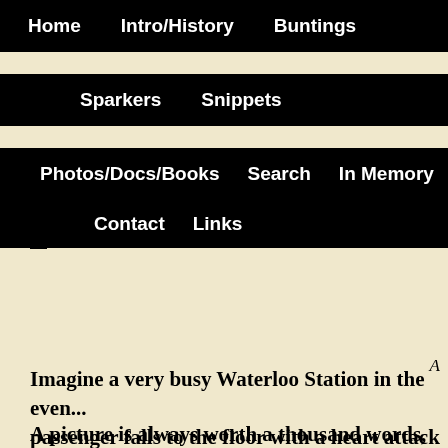Home   Intro/History   Buntings   Sparkers   Snippets   Photos/Docs/Books   Search   In Memory   Contact   Links
24
A
Imagine a very busy Waterloo Station in the even... passenger falls to the floor with a heart attack and sub... man who died was a former R.N., Communicator (Lo... Queens Wedding in 1947 being a best friend of Prince... R.N., Rtd and he was just 50 years of age. He left the n...
A picture is always worth a thousand words, so h...